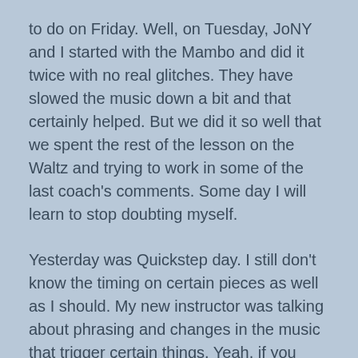to do on Friday. Well, on Tuesday, JoNY and I started with the Mambo and did it twice with no real glitches. They have slowed the music down a bit and that certainly helped. But we did it so well that we spent the rest of the lesson on the Waltz and trying to work in some of the last coach's comments. Some day I will learn to stop doubting myself.
Yesterday was Quickstep day. I still don't know the timing on certain pieces as well as I should. My new instructor was talking about phrasing and changes in the music that trigger certain things. Yeah, if you asked, I might be able to give you a passable definition of phrasing but it is still mostly a foreign language to me. I mean I'm lucky that I can find and feel the beat.